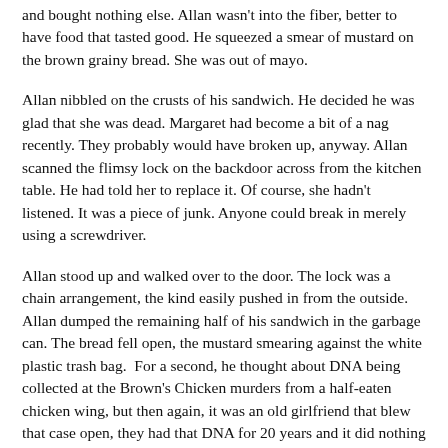and bought nothing else. Allan wasn't into the fiber, better to have food that tasted good. He squeezed a smear of mustard on the brown grainy bread. She was out of mayo.
Allan nibbled on the crusts of his sandwich. He decided he was glad that she was dead. Margaret had become a bit of a nag recently. They probably would have broken up, anyway. Allan scanned the flimsy lock on the backdoor across from the kitchen table. He had told her to replace it. Of course, she hadn't listened. It was a piece of junk. Anyone could break in merely using a screwdriver.
Allan stood up and walked over to the door. The lock was a chain arrangement, the kind easily pushed in from the outside. Allan dumped the remaining half of his sandwich in the garbage can. The bread fell open, the mustard smearing against the white plastic trash bag.  For a second, he thought about DNA being collected at the Brown's Chicken murders from a half-eaten chicken wing, but then again, it was an old girlfriend that blew that case open, they had that DNA for 20 years and it did nothing to solve the case...
He went out the front door and leisurely walked around back. No one